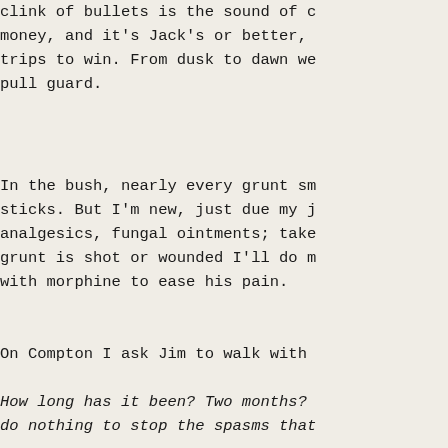clink of bullets is the sound of money, and it's Jack's or better, trips to win. From dusk to dawn we pull guard.
In the bush, nearly every grunt sm sticks. But I'm new, just due my j analgesics, fungal ointments; take grunt is shot or wounded I'll do m with morphine to ease his pain.
On Compton I ask Jim to walk with
How long has it been? Two months? do nothing to stop the spasms that
The battalion surgeon, a tall hanc sweats and drinks in equal measure
“No, sir,” I say.
“Don’t Jim to carry on” He is is...